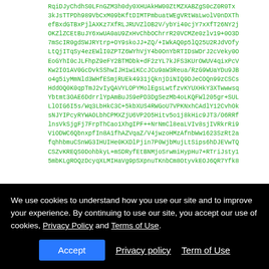RqiDJyChdhS0LFnGZM3h0dy0XHUAkHW00ZtMZXABZgS0cZ0R0Tx
3kJsTTPDh989VbCxM09bKftDIMTPmbuatWEgVRtWaLwolV0nDXTh
efBxdGTBxPjlAXKz7XfRLJRUVZlOB2V/ybYi40cjY7xXfT26NY2j
OKZlZCEtBuJY6xwUA0aU9ZxHvChbOChrrR20VCMZe0zlv19+0O3D
7mScIR0gdSWJRYtrp+OY9skoJJ+ZQ/+IWkAQ0p5lQ25U2RJdVOfy
LtQjITqSy4ezEWlI0ZPTZ6WYhVjY4b0OnYbRTIDsWDrJ2cVeky0O
EoGYhI0cJLFhpZ9eFY2BTMDbk+dF2zYL7kJFS3KUrOWUV4qixPcV
Kw2IO1AV0GcDvkSShwIJH1wiKCcJCu9aW3Reua/RzG9WUaYDu9JB
o4g5iyMmNld3WHfESmjRUEk4931jQknjDiNIQ9DJeCOQn99zCSCs
HddOQ0K0qpTmJ2vIyQAVYLOPYMolEgsLwtfzvKYUXHkY3XTwwwsq
Ybtmt3OAE6DdrrlYpAmBuJS9ePD3DgSezMb4oLKQFWl205gr+SUL
LlOIG6I5s/Wq3LbHkC3C+5kbXUS4RWGoU7VPKNxhCAdlY12CvhOk
sNJYIPcyRYWAOLbhCPMXZjU6VP2O5Hitv5o1j8kHic9JT3/O6RRf
lnsVkSjgFj7FrpThCao1XhgIPF++NrNmCl8eaLVIv8sjIVRkrRi9
ViODWC6QbnxpfIn8A1fhAZVqaZ/V4jwzoHMzAfnbWw1623SzRt2a
fqhhbmuCSnWG3IHUIHe0KXDlPjin7P0WjbMujLtSips6hDJEVwTQ
CSZvKREQS0DohbkyL+mSDRyfEtBNMjoSrwmiHypHu7+RTriJsty1
5mbKLgROQzDcyqXLMIHaVg9pSXpnuTKnbCm8OtyvkEOJ6QR7Yfk8
We use cookies to understand how you use our site and to improve your experience. By continuing to use our site, you accept our use of cookies, Privacy Policy and Terms of Use.